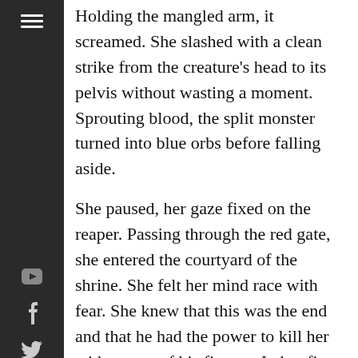[Figure (other): Dark sidebar with hamburger menu icon at top and social media icons (YouTube, Facebook, Twitter, Tumblr, Pinterest) arranged vertically]
Holding the mangled arm, it screamed. She slashed with a clean strike from the creature's head to its pelvis without wasting a moment. Sprouting blood, the split monster turned into blue orbs before falling aside.
She paused, her gaze fixed on the reaper. Passing through the red gate, she entered the courtyard of the shrine. She felt her mind race with fear. She knew that this was the end and that he had the power to kill her with a snap of his fingers. In her first meeting with him, she had no idea how he performed that trick and had hoped it was just a trick. After repositioning his arms in front of his chest, the reaper turned to face